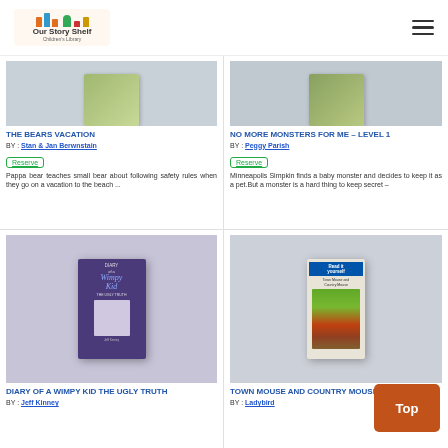Our Story Shelf
THE BEARS VACATION
BY : Stan & Jan Berwnstain
Reserve
Pappa bear teaches small bear about following safety rules when they go on a vacation to the beach ...
NO MORE MONSTERS FOR ME – LEVEL 1
BY : Peggy Parish
Reserve
Minneapolis Simpkin finds a baby monster and decides to keep it as a pet.But a monster is a hard thing to keep secret –
[Figure (photo): Diary of a Wimpy Kid The Ugly Truth book cover on grey background]
DIARY OF A WIMPY KID THE UGLY TRUTH
BY : Jeff Kinney
[Figure (photo): Read it yourself book cover on grey background]
TOWN MOUSE AND COUNTRY MOUSE
BY : Ladybird